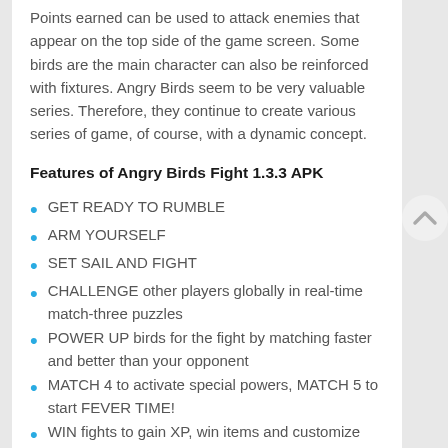Points earned can be used to attack enemies that appear on the top side of the game screen. Some birds are the main character can also be reinforced with fixtures. Angry Birds seem to be very valuable series. Therefore, they continue to create various series of game, of course, with a dynamic concept.
Features of Angry Birds Fight 1.3.3 APK
GET READY TO RUMBLE
ARM YOURSELF
SET SAIL AND FIGHT
CHALLENGE other players globally in real-time match-three puzzles
POWER UP birds for the fight by matching faster and better than your opponent
MATCH 4 to activate special powers, MATCH 5 to start FEVER TIME!
WIN fights to gain XP, win items and customize your flock and your ship
ACCESSORIZE with different items to increase health, attack and add skills